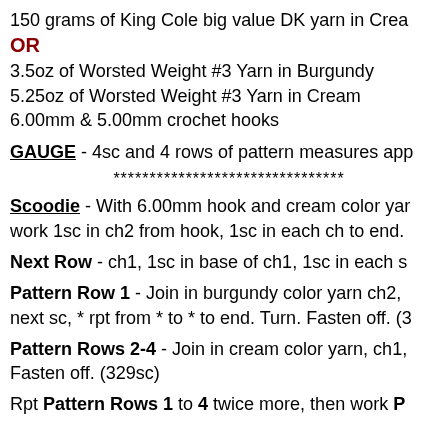150 grams of King Cole big value DK yarn in Crea
OR
3.5oz of Worsted Weight #3 Yarn in Burgundy
5.25oz of Worsted Weight #3 Yarn in Cream
6.00mm & 5.00mm crochet hooks
GAUGE - 4sc and 4 rows of pattern measures app
********************************
Scoodie - With 6.00mm hook and cream color yar work 1sc in ch2 from hook, 1sc in each ch to end.
Next Row - ch1, 1sc in base of ch1, 1sc in each s
Pattern Row 1 - Join in burgundy color yarn ch2, next sc, * rpt from * to * to end. Turn. Fasten off. (3
Pattern Rows 2-4 - Join in cream color yarn, ch1, Fasten off. (329sc)
Rpt Pattern Rows 1 to 4 twice more, then work P